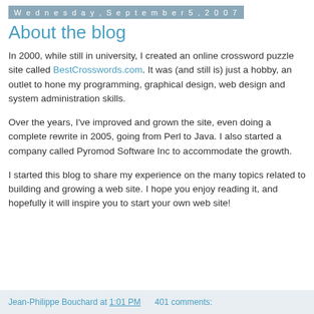Wednesday, September 5, 2007
About the blog
In 2000, while still in university, I created an online crossword puzzle site called BestCrosswords.com. It was (and still is) just a hobby, an outlet to hone my programming, graphical design, web design and system administration skills.
Over the years, I've improved and grown the site, even doing a complete rewrite in 2005, going from Perl to Java. I also started a company called Pyromod Software Inc to accommodate the growth.
I started this blog to share my experience on the many topics related to building and growing a web site. I hope you enjoy reading it, and hopefully it will inspire you to start your own web site!
Jean-Philippe Bouchard at 1:01 PM    401 comments: